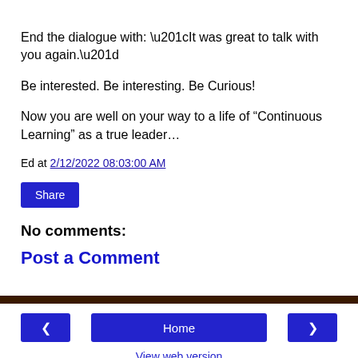End the dialogue with: “It was great to talk with you again.”
Be interested. Be interesting. Be Curious!
Now you are well on your way to a life of “Continuous Learning” as a true leader…
Ed at 2/12/2022 08:03:00 AM
Share
No comments:
Post a Comment
< Home > View web version Powered by Blogger.